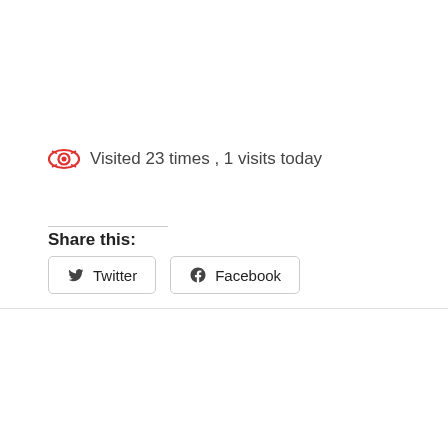Visited 23 times , 1 visits today
Share this:
[Figure (other): Twitter and Facebook share buttons]
We use cookies on our website to give you the most relevant experience by remembering your preferences and repeat visits. By clicking “Accept”, you consent to the use of ALL the cookies. Read Privacy & Cookies Policy
Cookie settings   ACCEPT   REJECT